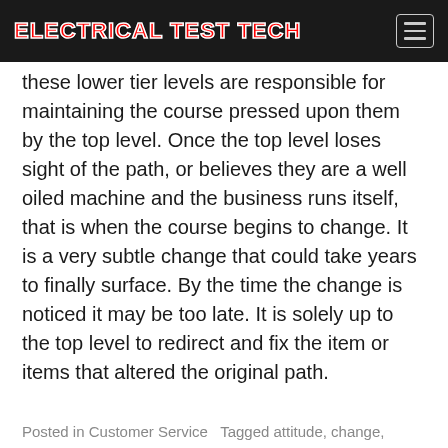ELECTRICAL TEST TECH
these lower tier levels are responsible for maintaining the course pressed upon them by the top level. Once the top level loses sight of the path, or believes they are a well oiled machine and the business runs itself, that is when the course begins to change. It is a very subtle change that could take years to finally surface. By the time the change is noticed it may be too late. It is solely up to the top level to redirect and fix the item or items that altered the original path.
Posted in Customer Service  Tagged attitude, change,